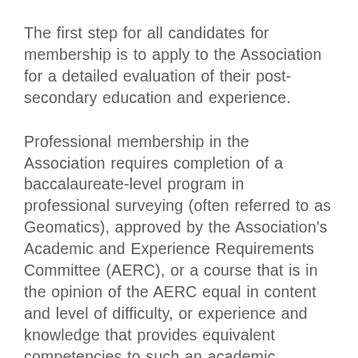The first step for all candidates for membership is to apply to the Association for a detailed evaluation of their post-secondary education and experience.
Professional membership in the Association requires completion of a baccalaureate-level program in professional surveying (often referred to as Geomatics), approved by the Association's Academic and Experience Requirements Committee (AERC), or a course that is in the opinion of the AERC equal in content and level of difficulty, or experience and knowledge that provides equivalent competencies to such an academic program.
This is followed by a term of articles of up to 1-1/2